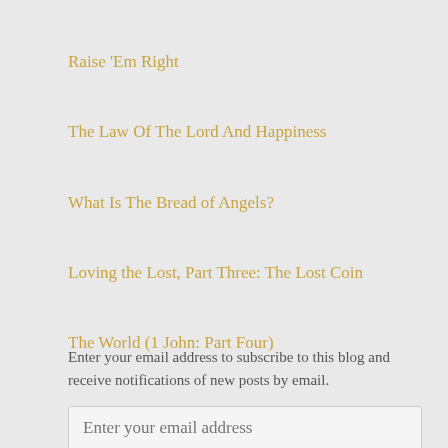Raise 'Em Right
The Law Of The Lord And Happiness
What Is The Bread of Angels?
Loving the Lost, Part Three: The Lost Coin
The World (1 John: Part Four)
Enter your email address to subscribe to this blog and receive notifications of new posts by email.
Enter your email address